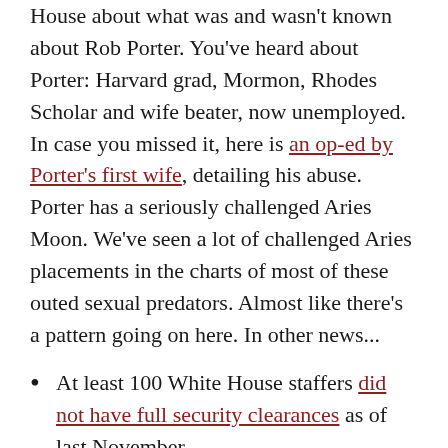House about what was and wasn't known about Rob Porter. You've heard about Porter: Harvard grad, Mormon, Rhodes Scholar and wife beater, now unemployed. In case you missed it, here is an op-ed by Porter's first wife, detailing his abuse. Porter has a seriously challenged Aries Moon. We've seen a lot of challenged Aries placements in the charts of most of these outed sexual predators. Almost like there's a pattern going on here. In other news...
At least 100 White House staffers did not have full security clearances as of last November.
P45's lawyer Michael Cohen says he